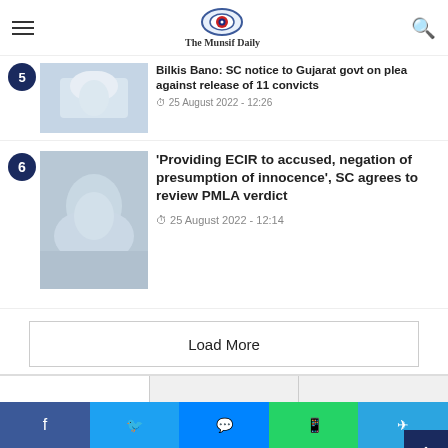The Munsif Daily
Bilkis Bano: SC notice to Gujarat govt on plea against release of 11 convicts
25 August 2022 - 12:26
'Providing ECIR to accused, negation of presumption of innocence', SC agrees to review PMLA verdict
25 August 2022 - 12:14
Load More
Recent
Popular
Comments
Raja Singh blames KTR for communa